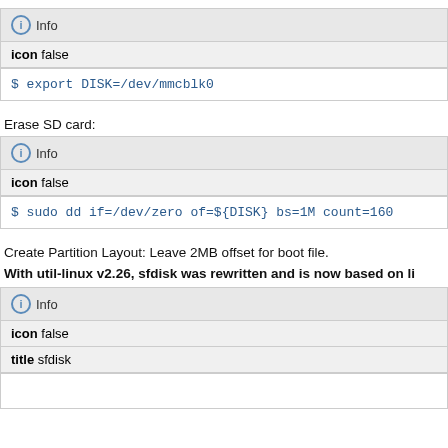[Figure (other): Info box with icon false and code: $ export DISK=/dev/mmcblk0]
Erase SD card:
[Figure (other): Info box with icon false and code: $ sudo dd if=/dev/zero of=${DISK} bs=1M count=160]
Create Partition Layout: Leave 2MB offset for boot file.
With util-linux v2.26, sfdisk was rewritten and is now based on li
[Figure (other): Info box with icon false, title sfdisk]